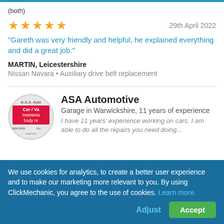(both)
★★★★★  29th April 2022
"Gareth was very friendly and helpful, he explained everything and did a great job."
MARTIN, Leicestershire
Nissan Navara • Auxiliary drive belt replacement
[Figure (logo): ASA Automotive circular logo showing text 'A.S.A. Auto', 'Car / Va', 'maintena', 'body re']
ASA Automotive
Garage in Warwickshire, 11 years of experience
I have 11 years' experience working on cars. I am able to do all the repairs you need doing...
We use cookies for analytics, to create a better user experience and to make our marketing more relevant to you. By using ClickMechanic, you agree to the use of cookies. Learn more.